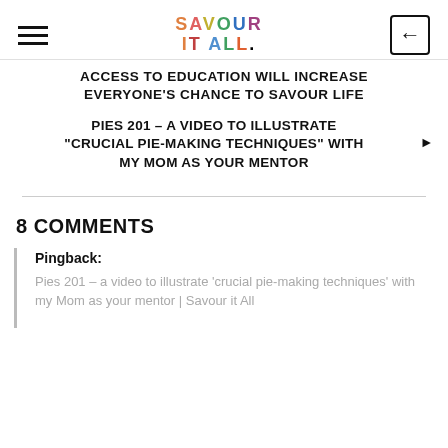SAVOUR IT ALL.
ACCESS TO EDUCATION WILL INCREASE EVERYONE'S CHANCE TO SAVOUR LIFE
PIES 201 – A VIDEO TO ILLUSTRATE "CRUCIAL PIE-MAKING TECHNIQUES" WITH MY MOM AS YOUR MENTOR
8 COMMENTS
Pingback:
Pies 201 – a video to illustrate 'crucial pie-making techniques' with my Mom as your mentor | Savour it All